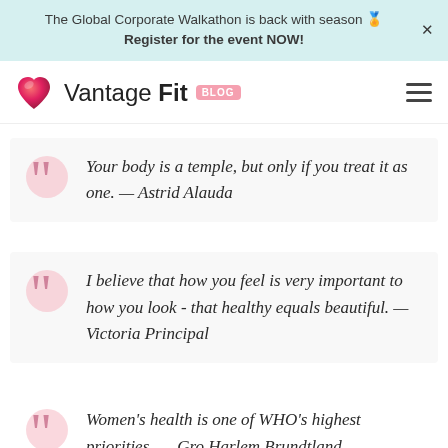The Global Corporate Walkathon is back with season 🏅 Register for the event NOW!
Vantage Fit BLOG
Your body is a temple, but only if you treat it as one. — Astrid Alauda
I believe that how you feel is very important to how you look - that healthy equals beautiful. — Victoria Principal
Women's health is one of WHO's highest priorities. — Gro Harlem Brundtland